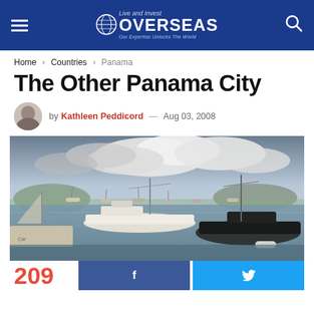Live and Invest Overseas — Our Expertise Unlocks The World
Home > Countries > Panama
The Other Panama City
by Kathleen Peddicord — Aug 03, 2008
[Figure (photo): Marina scene with boats and yachts anchored in a bay, dramatic cloudy sky, hills and city skyline in background — Panama City waterfront]
209